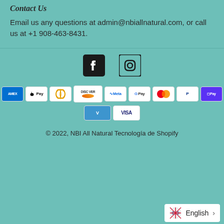Contact Us
Email us any questions at admin@nbiallnatural.com, or call us at +1 908-463-8431.
[Figure (logo): Facebook and Instagram social media icons]
[Figure (infographic): Payment method badges: American Express, Apple Pay, Diners Club, Discover, Meta Pay, Google Pay, Mastercard, PayPal, Shop Pay, Venmo, Visa]
© 2022, NBI All Natural Tecnología de Shopify
English >